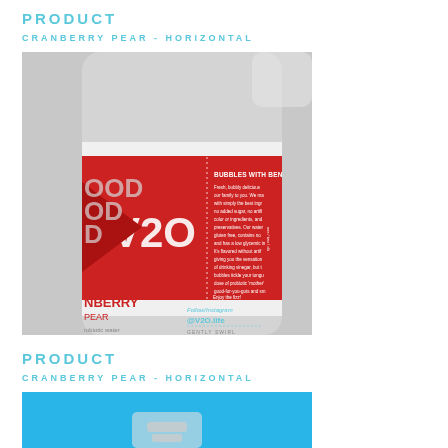PRODUCT
CRANBERRY PEAR - HORIZONTAL
[Figure (photo): A horizontal photo of a V2O sparkling water bottle, Cranberry Pear flavor. The bottle is shown on its side against a gray background. The label is red with white text including 'V2O', 'CRANBERRY PEAR', 'probiotic water', 'BUBBLES WITH BENEFITS', '@V2O.life', 'Follow/Instagram', 'GENTLY SWIRL'. The label shows marketing text about the product.]
PRODUCT
CRANBERRY PEAR - HORIZONTAL
[Figure (photo): A horizontal photo of a V2O sparkling water bottle, Cranberry Pear flavor, shown on a bright blue background. The bottle cap and part of the label are visible at the bottom of the frame.]